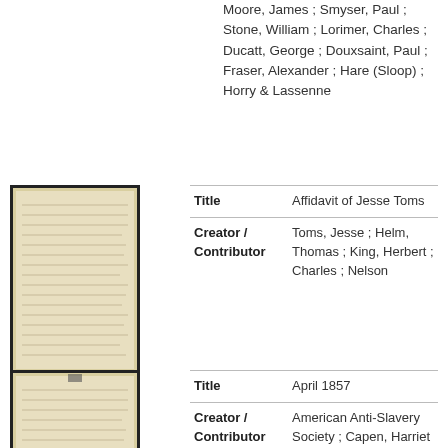Moore, James ; Smyser, Paul ; Stone, William ; Lorimer, Charles ; Ducatt, George ; Douxsaint, Paul ; Fraser, Alexander ; Hare (Sloop) ; Horry & Lassenne
[Figure (photo): Thumbnail of handwritten document - Affidavit of Jesse Toms]
| Title | Affidavit of Jesse Toms |
| Creator / Contributor | Toms, Jesse ; Helm, Thomas ; King, Herbert ; Charles ; Nelson |
[Figure (photo): Thumbnail of handwritten document - April 1857]
| Title | April 1857 |
| Creator / Contributor | American Anti-Slavery Society ; Capen, Harriet C. ; Briggs, Robert ; Wales, Thomas C. ; Bates, James ; Hennessey, Edward ; Adams, John ; Brett, Joel ; Cottle, Jonathan ; Kimball, David T. ; Lillie, Thomas E. ; Cameron, Mrs. ; Kuhn, John ; Smith, Ralph ; Whitemore, Thomas ; Guess, Solomon ; Thayer, George L. ; Stephenson, Luther ; Howard, Charles ; Vose, Thomas B. ; Belcher, L. ; Belcher, W. S. ; Domett, Henry ; McMahan, James ; Barry, P. H. ; Ansley |